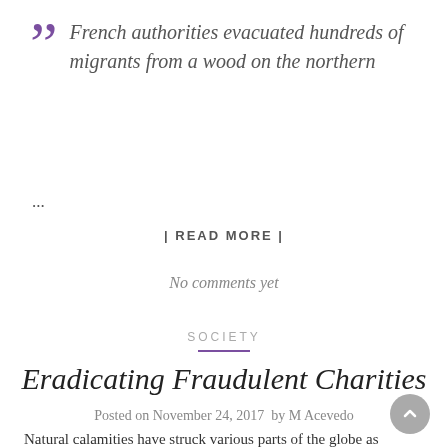“French authorities evacuated hundreds of migrants from a wood on the northern
...
| READ MORE |
No comments yet
SOCIETY
Eradicating Fraudulent Charities
Posted on November 24, 2017  by M Acevedo
Natural calamities have struck various parts of the globe as